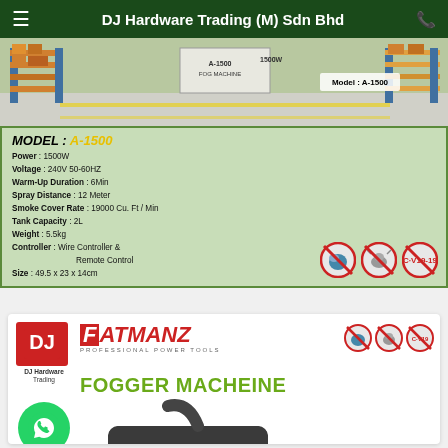DJ Hardware Trading (M) Sdn Bhd
[Figure (photo): Product card showing A-1500 Fog Machine with warehouse background and green specs panel. MODEL: A-1500, Power: 1500W, Voltage: 240V 50-60HZ, Warm-Up Duration: 6Min, Spray Distance: 12 Meter, Smoke Cover Rate: 19000 Cu. Ft / Min, Tank Capacity: 2L, Weight: 5.5kg, Controller: Wire Controller & Remote Control, Size: 49.5 x 23 x 14cm]
[Figure (logo): DJ Hardware Trading logo, Fatmanz Professional Power Tools logo, anti-bug/Covid-19 icons, Fogger Machine product image with WhatsApp button]